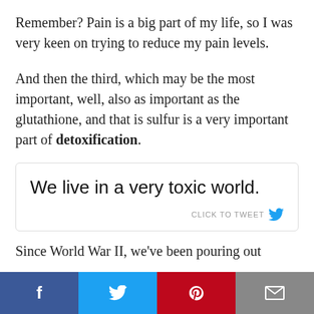Remember? Pain is a big part of my life, so I was very keen on trying to reduce my pain levels.
And then the third, which may be the most important, well, also as important as the glutathione, and that is sulfur is a very important part of detoxification.
[Figure (other): Click-to-tweet box with text: We live in a very toxic world.]
Since World War II, we've been pouring out
[Figure (other): Social sharing bar with Facebook, Twitter, Pinterest, and Email buttons]